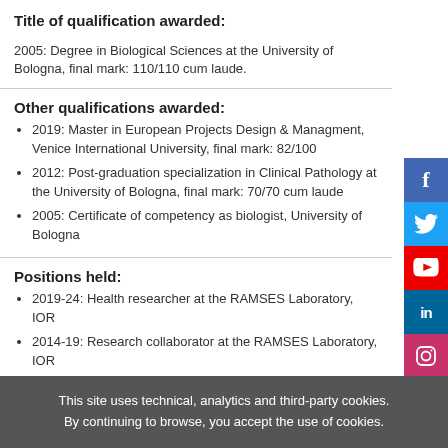Title of qualification awarded:
2005: Degree in Biological Sciences at the University of Bologna, final mark: 110/110 cum laude.
Other qualifications awarded:
2019: Master in European Projects Design & Managment, Venice International University, final mark: 82/100
2012: Post-graduation specialization in Clinical Pathology at the University of Bologna, final mark: 70/70 cum laude
2005: Certificate of competency as biologist, University of Bologna
Positions held:
2019-24: Health researcher at the RAMSES Laboratory, IOR
2014-19: Research collaborator at the RAMSES Laboratory, IOR
2013-14: Research collaborator at the Laboratory of
This site uses technical, analytics and third-party cookies. By continuing to browse, you accept the use of cookies.